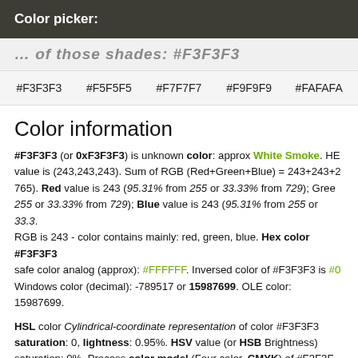Color picker:
#F3F3F3   #F5F5F5   #F7F7F7   #F9F9F9   #FAFAFA
Color information
#F3F3F3 (or 0xF3F3F3) is unknown color: approx White Smoke. HE value is (243,243,243). Sum of RGB (Red+Green+Blue) = 243+243+2 765). Red value is 243 (95.31% from 255 or 33.33% from 729); Gree 255 or 33.33% from 729); Blue value is 243 (95.31% from 255 or 33.3. RGB is 243 - color contains mainly: red, green, blue. Hex color #F3F3F3 safe color analog (approx): #FFFFFF. Inversed color of #F3F3F3 is #0 Windows color (decimal): -789517 or 15987699. OLE color: 15987699.
HSL color Cylindrical-coordinate representation of color #F3F3F3 saturation: 0, lightness: 0.95%. HSV value (or HSB Brightness) saturation: 0%. Process color model (Four color, CMYK) of #F3F3F Yellow = 0 and Black (K on CMYK) = 0.05.